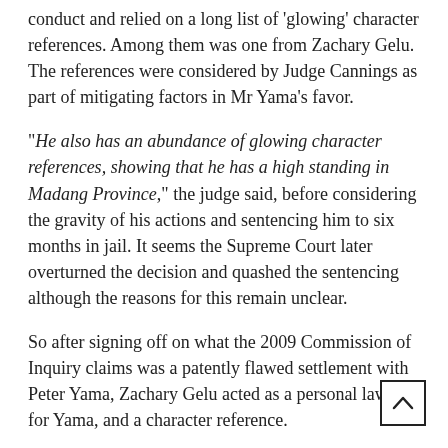conduct and relied on a long list of 'glowing' character references. Among them was one from Zachary Gelu. The references were considered by Judge Cannings as part of mitigating factors in Mr Yama's favor.
“He also has an abundance of glowing character references, showing that he has a high standing in Madang Province,” the judge said, before considering the gravity of his actions and sentencing him to six months in jail. It seems the Supreme Court later overturned the decision and quashed the sentencing although the reasons for this remain unclear.
So after signing off on what the 2009 Commission of Inquiry claims was a patently flawed settlement with Peter Yama, Zachary Gelu acted as a personal lawyer for Yama, and a character reference.